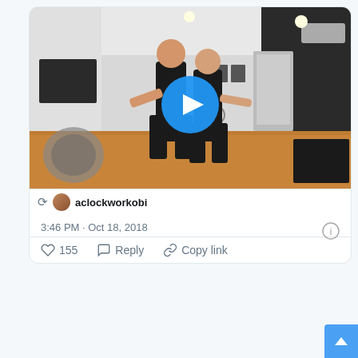[Figure (screenshot): Twitter/social media post showing a video thumbnail of two people dancing in a dance studio with wooden floors and white walls. A blue play button is visible in the center of the video. Below the video is a retweet indicator with the username 'aclockworkobi'.]
3:46 PM · Oct 18, 2018
155  Reply  Copy link